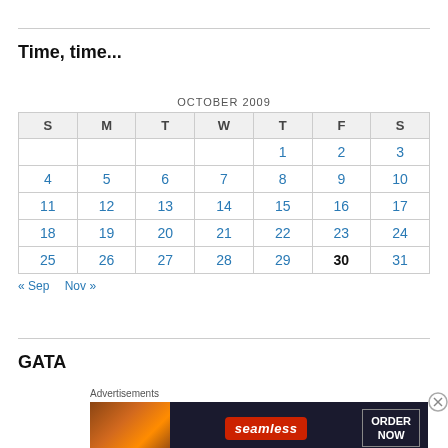Time, time...
| S | M | T | W | T | F | S |
| --- | --- | --- | --- | --- | --- | --- |
|  |  |  |  | 1 | 2 | 3 |
| 4 | 5 | 6 | 7 | 8 | 9 | 10 |
| 11 | 12 | 13 | 14 | 15 | 16 | 17 |
| 18 | 19 | 20 | 21 | 22 | 23 | 24 |
| 25 | 26 | 27 | 28 | 29 | 30 | 31 |
« Sep   Nov »
GATA
[Figure (photo): Seamless food delivery advertisement banner with pizza image and 'ORDER NOW' button]